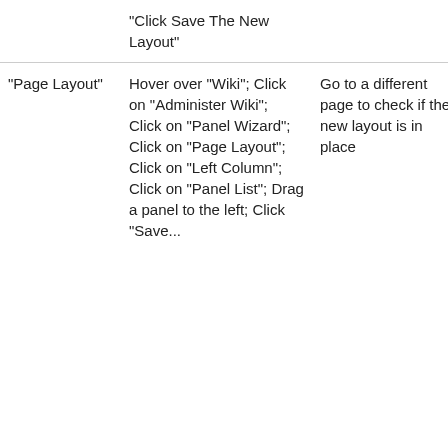|  | Steps | Expected Results | Status |
| --- | --- | --- | --- |
|  | "Click Save The New Layout" |  |  |
| "Page Layout" | Hover over "Wiki"; Click on "Administer Wiki"; Click on "Panel Wizard"; Click on "Page Layout"; Click on "Left Column"; Click on "Panel List"; Drag a panel to the left; Click "Save... | Go to a different page to check if the new layout is in place | Not Tested |